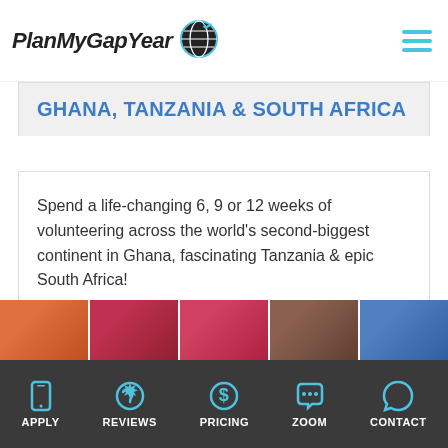PlanMyGapYear
GHANA, TANZANIA & SOUTH AFRICA
Spend a life-changing 6, 9 or 12 weeks of volunteering across the world's second-biggest continent in Ghana, fascinating Tanzania & epic South Africa!
[Figure (infographic): Four icon boxes: globe/location icon, info icon, group/people icon, calendar icon]
[Figure (photo): Photo strip showing 5 photos of African volunteer scenes]
APPLY | REVIEWS | PRICING | ZOOM | CONTACT